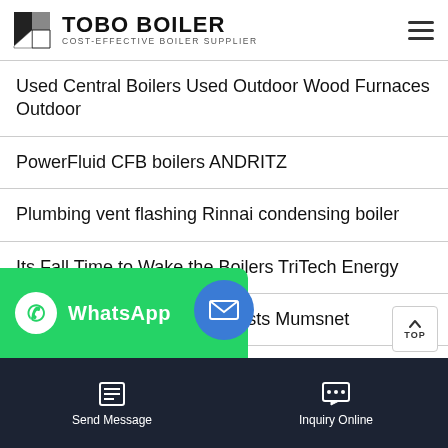TOBO BOILER — COST-EFFECTIVE BOILER SUPPLIER
Used Central Boilers Used Outdoor Wood Furnaces Outdoor
PowerFluid CFB boilers ANDRITZ
Plumbing vent flashing Rinnai condensing boiler
Its Fall Time to Wake the Boilers TriTech Energy
Oil boiler and Aga running costs Mumsnet
Sizing a boiler for steam heat HVACTalk
Wh... 1940s1950s boiler